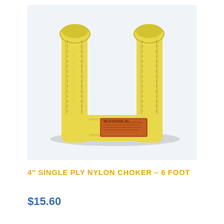[Figure (photo): A yellow nylon lifting sling/choker strap looped in a U-shape with both ends folded over, showing a brown/orange label tag on the strap body. The strap is a 4-inch wide flat webbing with stitched seams.]
4″ SINGLE PLY NYLON CHOKER – 6 FOOT
$15.60